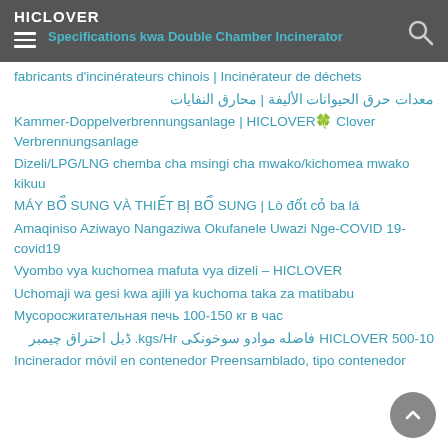HICLOVER
Specifications kwa Double Chamber Incinerator
fabricants d'incinérateurs chinois | Incinérateur de déchets
معدات حرق الحيوانات الأليفة | محارق النفايات
Kammer-Doppelverbrennungsanlage | HICLOVER🍀 Clover Verbrennungsanlage
Dizeli/LPG/LNG chemba cha msingi cha mwako/kichomea mwako kikuu
MÁY BỔ SUNG VÀ THIẾT BỊ BỔ SUNG | Lò đốt cỏ ba lá
Amaqiniso Aziwayo Nangaziwa Okufanele Uwazi Nge-COVID 19-covid19
Vyombo vya kuchomea mafuta vya dizeli – HICLOVER
Uchomaji wa gesi kwa ajili ya kuchoma taka za matibabu
Мусоросжигательная печь 100-150 кг в час
HICLOVER 500-10 فاضله موادو سوخونکی kgs/Hr. ڈبل احتراق چیمبر
Incinerador móvil en contenedor Preensamblado, tipo contenedor